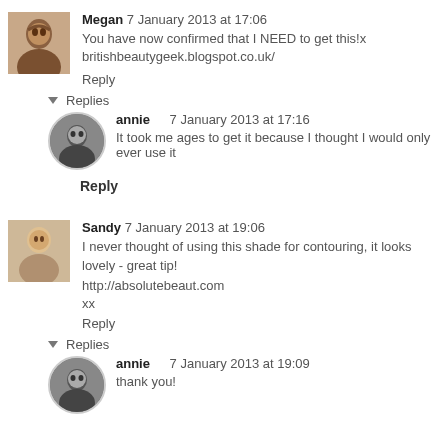[Figure (photo): Avatar photo of Megan, a woman with reddish-brown hair]
Megan  7 January 2013 at 17:06
You have now confirmed that I NEED to get this!x britishbeautygeek.blogspot.co.uk/
Reply
Replies
[Figure (photo): Avatar photo of annie, grayscale portrait]
annie  7 January 2013 at 17:16
It took me ages to get it because I thought I would only ever use it
Reply
[Figure (photo): Avatar photo of Sandy, a person outdoors]
Sandy  7 January 2013 at 19:06
I never thought of using this shade for contouring, it looks lovely - great tip!
http://absolutebeaut.com
xx
Reply
Replies
[Figure (photo): Avatar photo of annie, grayscale portrait]
annie  7 January 2013 at 19:09
thank you!